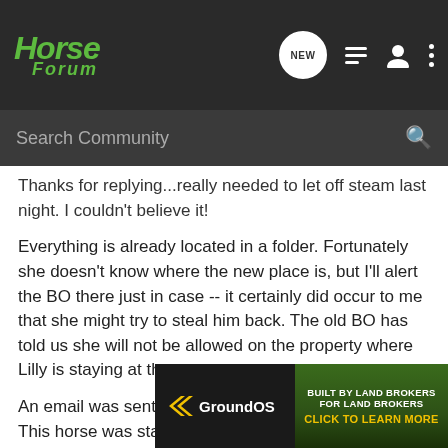[Figure (screenshot): Horse Forum website header with green logo, navigation icons (NEW chat bubble, list icon, user icon, three dots menu)]
[Figure (screenshot): Search Community search bar on dark background]
Thanks for replying...really needed to let off steam last night. I couldn't believe it!
Everything is already located in a folder. Fortunately she doesn't know where the new place is, but I'll alert the BO there just in case -- it certainly did occur to me that she might try to steal him back. The old BO has told us she will not be allowed on the property where Lilly is staying at the moment.
An email was sent in reply stating the cold hard facts. This horse was starving and lacking medical attention, and there was no way we would return him to her. She was reminded that no "terms" had been broken and we were fully in the right, and that we [cut off] commu[cut off]
[Figure (screenshot): GroundOS advertisement banner: BUILT BY LAND BROKERS FOR LAND BROKERS - CLICK TO LEARN MORE]